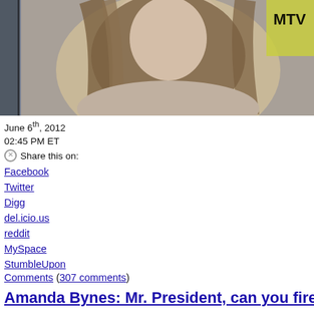[Figure (photo): Photo of a woman with long wavy blonde/brown hair wearing a light beige/nude sleeveless dress, at what appears to be an MTV event (MTV logo visible in background)]
June 6th, 2012
02:45 PM ET
Share this on:
Facebook
Twitter
Digg
del.icio.us
reddit
MySpace
StumbleUpon
Comments (307 comments)
Amanda Bynes: Mr. President, can you fire
We know President Barack Obama ran on the "Yes, we can" platform